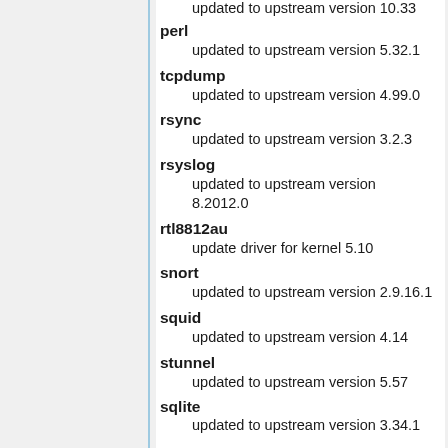updated to upstream version 10.33
perl
    updated to upstream version 5.32.1
tcpdump
    updated to upstream version 4.99.0
rsync
    updated to upstream version 3.2.3
rsyslog
    updated to upstream version 8.2012.0
rtl8812au
    update driver for kernel 5.10
snort
    updated to upstream version 2.9.16.1
squid
    updated to upstream version 4.14
stunnel
    updated to upstream version 5.57
sqlite
    updated to upstream version 3.34.1